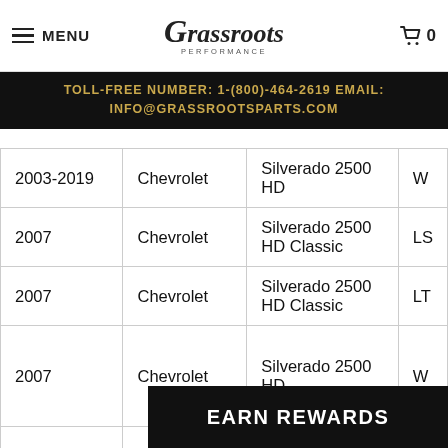MENU | Grassroots Performance | 0
TOLL-FREE NUMBER: 1-(800)-464-2619 EMAIL: INFO@GRASSROOTSPARTS.COM
| Year | Make | Model | Trim |
| --- | --- | --- | --- |
| 2003-2019 | Chevrolet | Silverado 2500 HD | W... |
| 2007 | Chevrolet | Silverado 2500 HD Classic | LS |
| 2007 | Chevrolet | Silverado 2500 HD Classic | LT |
| 2007 | Chevrolet | Silverado 2500 HD | W... |
EARN REWARDS